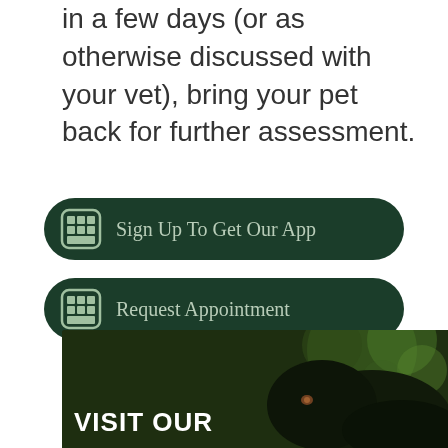in a few days (or as otherwise discussed with your vet), bring your pet back for further assessment.
[Figure (screenshot): Dark green pill-shaped button with app icon and text 'Sign Up To Get Our App']
[Figure (screenshot): Dark green pill-shaped button with app icon and text 'Request Appointment']
[Figure (screenshot): White bordered button with newspaper icon and purple background text 'Read Our Reviews']
[Figure (photo): Photo of a black Labrador dog against a green bokeh background with white text 'VISIT OUR' overlaid at bottom left]